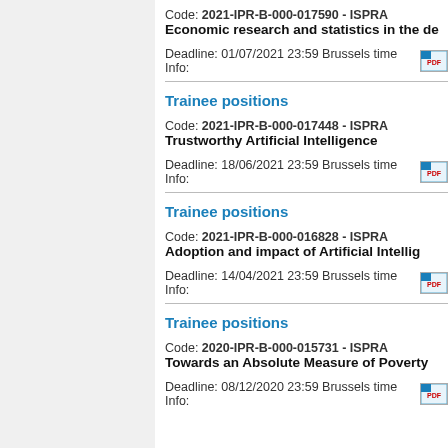Code: 2021-IPR-B-000-017590 - ISPRA
Economic research and statistics in the de...
Deadline: 01/07/2021 23:59 Brussels time  Info:
Trainee positions
Code: 2021-IPR-B-000-017448 - ISPRA
Trustworthy Artificial Intelligence
Deadline: 18/06/2021 23:59 Brussels time  Info:
Trainee positions
Code: 2021-IPR-B-000-016828 - ISPRA
Adoption and impact of Artificial Intellig...
Deadline: 14/04/2021 23:59 Brussels time  Info:
Trainee positions
Code: 2020-IPR-B-000-015731 - ISPRA
Towards an Absolute Measure of Poverty...
Deadline: 08/12/2020 23:59 Brussels time  Info: